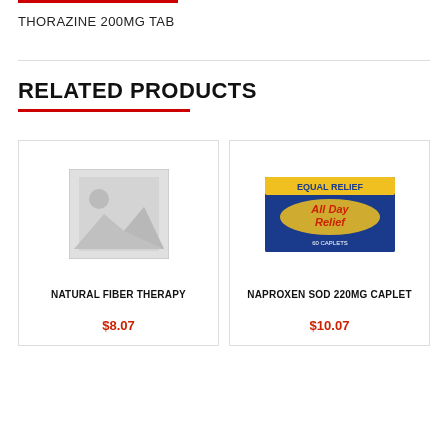THORAZINE 200MG TAB
RELATED PRODUCTS
[Figure (photo): Placeholder image (grey mountain/landscape icon) for Natural Fiber Therapy product]
NATURAL FIBER THERAPY
$8.07
[Figure (photo): Product image of Naproxen Sod 220MG Caplet - All Day Relief blue/yellow box]
NAPROXEN SOD 220MG CAPLET
$10.07